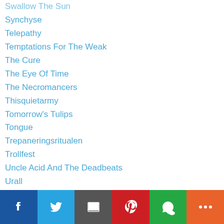Swallow The Sun
Synchyse
Telepathy
Temptations For The Weak
The Cure
The Eye Of Time
The Necromancers
Thisquietarmy
Tomorrow's Tulips
Tongue
Trepaneringsritualen
Trollfest
Uncle Acid And The Deadbeats
Urall
VaatV
Vin De Mia Trix
Vinz
Wanheda
Wayfarer
[Figure (infographic): Social sharing bar with Facebook, Twitter, Email, Pinterest, WhatsApp, and More buttons]